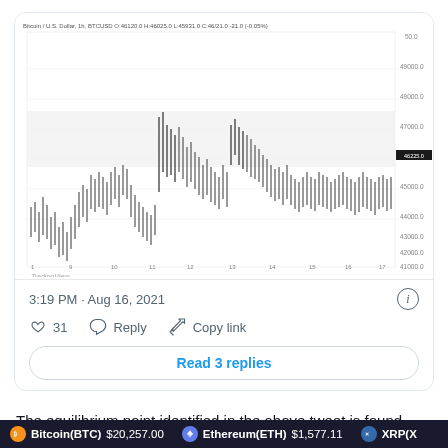[Figure (continuous-plot): TradingView candlestick chart of Bitcoin / U.S. Dollar (1h, BTCUSD) showing price action from approximately Aug 1–18, 2021. Price range roughly from $41,000 to $48,000+. Chart header shows: O:46120.0 H:46025.0 L:45931.0 C:46/21.0 -21.0 (-0.05%). Y-axis labels: 50.0, 49000.0, 48000.0, 47000.0, 46000.0, 45000.0, 44000.0, 43000.0, 42000.0, 41000.0. Price highlight box at ~46225.0. TradingView watermark visible.]
3:19 PM · Aug 16, 2021
31   Reply   Copy link
Read 3 replies
The equilibrium point identified in the above tweet is found near $46,123 and the analyst could be hinting that after BTC tests the support, buy volumes could increase
Bitcoin(BTC) $20,257.00   Ethereum(ETH) $1,577.11   XRP(X...